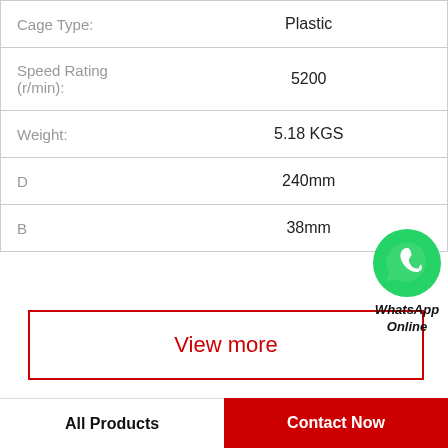| Property | Value |
| --- | --- |
| Cage Type: | Plastic |
| Speed Rating (r/min): | 5200 |
| Weight: | 5.18 KGS |
| D | 240mm |
| B | 38mm |
[Figure (logo): WhatsApp green circle icon with phone handset, labeled WhatsApp Online]
View more
Company Profile
China Kubota Hydraulic Final Drive Motor Supplier
All Products
Contact Now